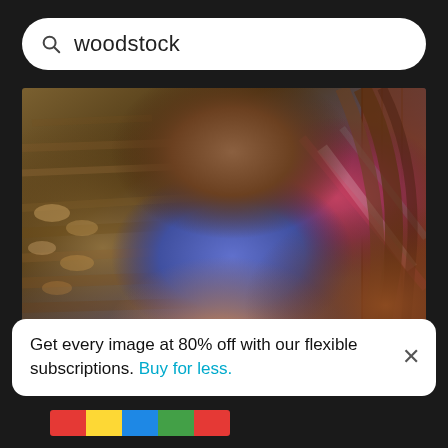woodstock
[Figure (photo): High angle view of woman sitting by stacked logs, wearing blue shirt and plaid flannel, hair covering face, holding phone, next to a wooden wall with cut firewood in background.]
High angle view of woman sitting by stacked logs.
Get every image at 80% off with our flexible subscriptions. Buy for less.